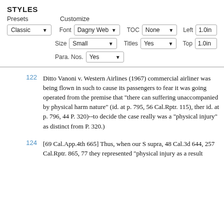STYLES
Presets   Customize
Font Dagny Web ▾   TOC None ▾   Left 1.0in
Classic ▾   Size Small ▾   Titles Yes ▾   Top 1.0in
Para. Nos. Yes ▾
122   Ditto Vanoni v. Western Airlines (1967) commercial airliner was being flown in such to cause its passengers to fear it was going operated from the premise that "there can suffering unaccompanied by physical harm nature" (id. at p. 795, 56 Cal.Rptr. 115), then id. at p. 796, 44 P. 320)--to decide the case really was a "physical injury" as distinct from P. 320.)
124   [69 Cal.App.4th 665] Thus, when our S supra, 48 Cal.3d 644, 257 Cal.Rptr. 865, 77 they represented "physical injury as a result